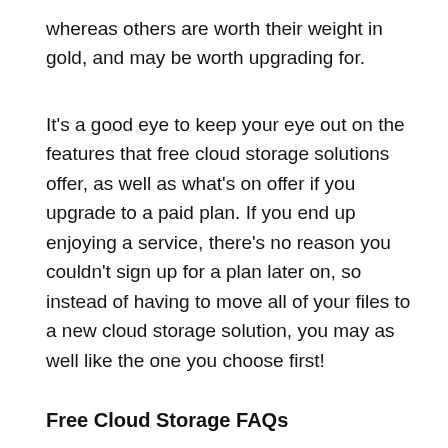whereas others are worth their weight in gold, and may be worth upgrading for.
It's a good eye to keep your eye out on the features that free cloud storage solutions offer, as well as what's on offer if you upgrade to a paid plan. If you end up enjoying a service, there's no reason you couldn't sign up for a plan later on, so instead of having to move all of your files to a new cloud storage solution, you may as well like the one you choose first!
Free Cloud Storage FAQs